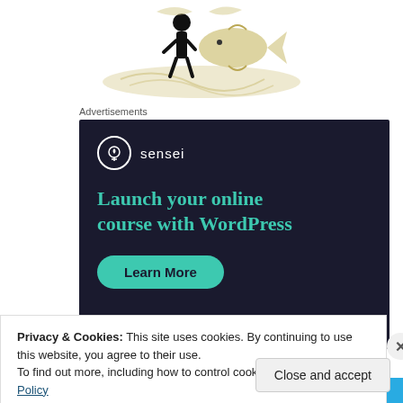[Figure (illustration): A silhouette illustration of a person walking with a large decorative fish, on a light beige/white background with swirling water motifs]
Advertisements
[Figure (infographic): Sensei advertisement banner with dark navy background. Shows Sensei logo (tree icon in circle), headline 'Launch your online course with WordPress' in teal, and a 'Learn More' teal button.]
Privacy & Cookies: This site uses cookies. By continuing to use this website, you agree to their use.
To find out more, including how to control cookies, see here: Cookie Policy
Close and accept
app you'll ever need.